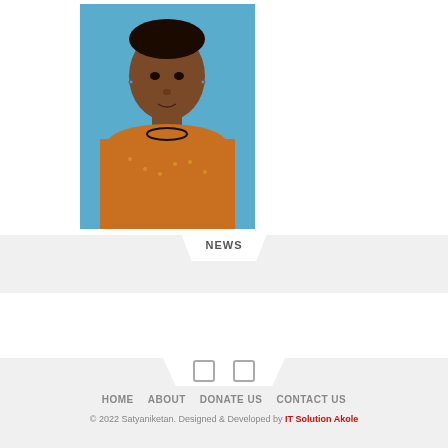[Figure (photo): Portrait photo of a woman wearing an orange saree and black beaded necklace, with a blue background, passport-style photo]
NEWS
HOME  ABOUT  DONATE US  CONTACT US
© 2022 Satyaniketan. Designed & Developed by IT Solution Akole